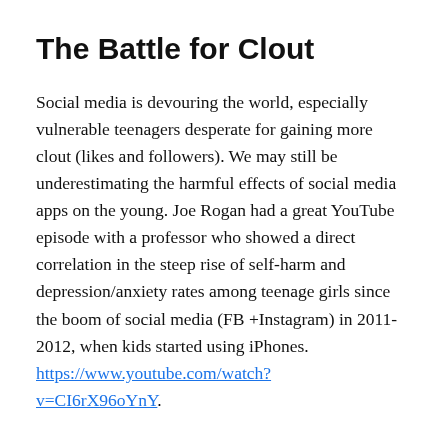The Battle for Clout
Social media is devouring the world, especially vulnerable teenagers desperate for gaining more clout (likes and followers). We may still be underestimating the harmful effects of social media apps on the young. Joe Rogan had a great YouTube episode with a professor who showed a direct correlation in the steep rise of self-harm and depression/anxiety rates among teenage girls since the boom of social media (FB +Instagram) in 2011-2012, when kids started using iPhones. https://www.youtube.com/watch?v=CI6rX96oYnY.